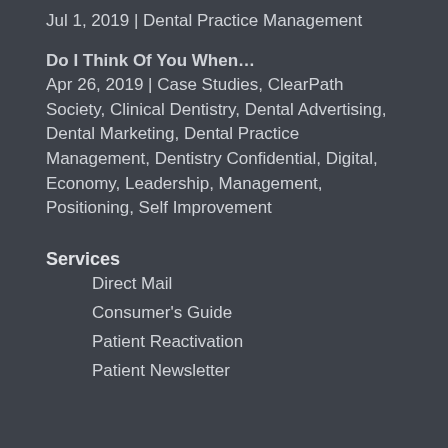Jul 1, 2019 | Dental Practice Management
Do I Think Of You When…
Apr 26, 2019 | Case Studies, ClearPath Society, Clinical Dentistry, Dental Advertising, Dental Marketing, Dental Practice Management, Dentistry Confidential, Digital, Economy, Leadership, Management, Positioning, Self Improvement
Services
Direct Mail
Consumer's Guide
Patient Reactivation
Patient Newsletter